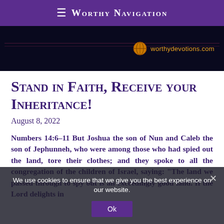≡ Worthy Navigation
[Figure (photo): Dark banner image with worthydevotions.com logo and URL on the right side]
Stand in Faith, Receive your Inheritance!
August 8, 2022
Numbers 14:6–11 But Joshua the son of Nun and Caleb the son of Jephunneh, who were among those who had spied out the land, tore their clothes; and they spoke to all the congregation of the children of Israel, saying: "The land we passed through to spy out is an exceedingly good land. If the Lord delights in
We use cookies to ensure that we give you the best experience on our website.
Ok